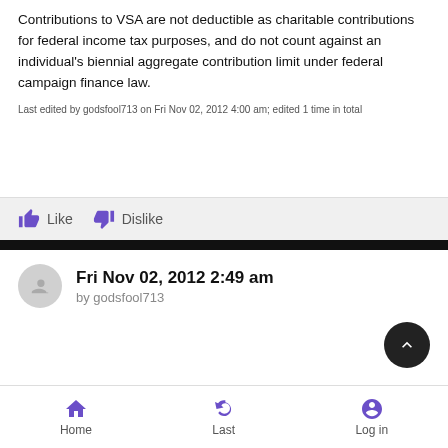Contributions to VSA are not deductible as charitable contributions for federal income tax purposes, and do not count against an individual's biennial aggregate contribution limit under federal campaign finance law.
Last edited by godsfool713 on Fri Nov 02, 2012 4:00 am; edited 1 time in total
Like   Dislike
Fri Nov 02, 2012 2:49 am
by godsfool713